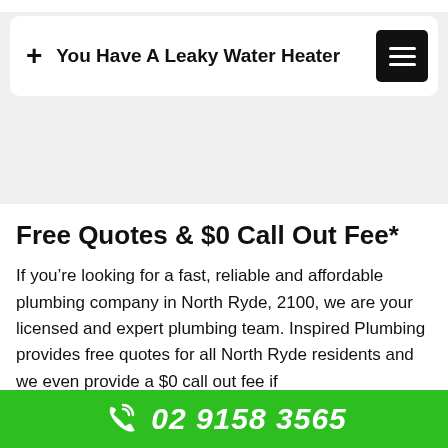+ You Have A Leaky Water Heater
Free Quotes & $0 Call Out Fee*
If you’re looking for a fast, reliable and affordable plumbing company in North Ryde, 2100, we are your licensed and expert plumbing team. Inspired Plumbing provides free quotes for all North Ryde residents and we even provide a $0 call out fee if
02 9158 3565